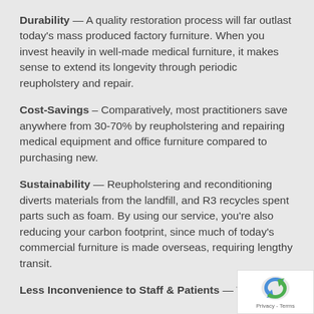Durability – A quality restoration process will far outlast today's mass produced factory furniture. When you invest heavily in well-made medical furniture, it makes sense to extend its longevity through periodic reupholstery and repair.
Cost-Savings – Comparatively, most practitioners save anywhere from 30-70% by reupholstering and repairing medical equipment and office furniture compared to purchasing new.
Sustainability – Reupholstering and reconditioning diverts materials from the landfill, and R3 recycles spent parts such as foam. By using our service, you're also reducing your carbon footprint, since much of today's commercial furniture is made overseas, requiring lengthy transit.
Less Inconvenience to Staff & Patients – We can